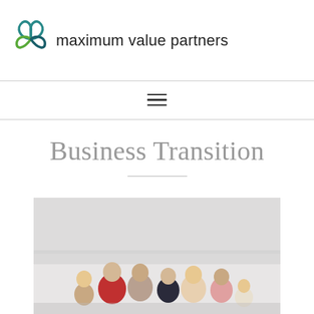[Figure (logo): Maximum Value Partners logo — a trefoil-style leaf/knot icon in teal and green]
maximum value partners
[Figure (other): Hamburger menu icon (three horizontal lines)]
Business Transition
[Figure (photo): A group of people (family, multiple generations) sitting with their backs to the camera, looking out toward a misty horizon. Subjects include children and adults.]